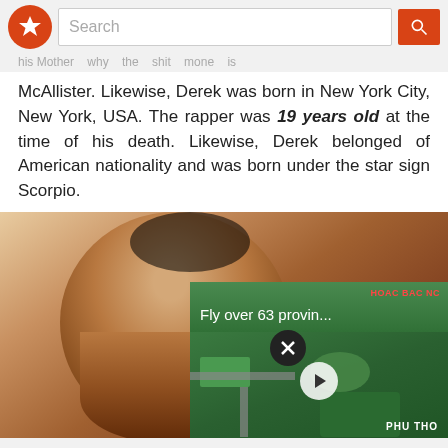Search
McAllister. Likewise, Derek was born in New York City, New York, USA. The rapper was 19 years old at the time of his death. Likewise, Derek belonged of American nationality and was born under the star sign Scorpio.
[Figure (photo): Portrait photo of a young person (child/young Derek), bald head, warm tones, with a video overlay thumbnail showing aerial view labeled 'Fly over 63 provin...' with play button, HOAC BAC NC label at top and PHU THO at bottom]
Fly over 63 provin...